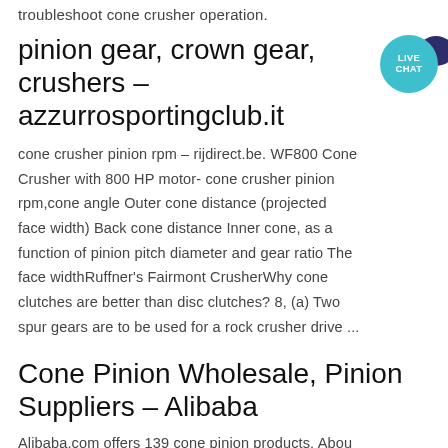troubleshoot cone crusher operation.
pinion gear, crown gear, crushers – azzurrosportingclub.it
[Figure (other): Live Chat badge icon with teal circle and dark blue speech bubble]
cone crusher pinion rpm - rijdirect.be. WF800 Cone Crusher with 800 HP motor- cone crusher pinion rpm,cone angle Outer cone distance (projected face width) Back cone distance Inner cone, as a function of pinion pitch diameter and gear ratio The face widthRuffner's Fairmont CrusherWhy cone clutches are better than disc clutches? 8, (a) Two spur gears are to be used for a rock crusher drive ...
Cone Pinion Wholesale, Pinion Suppliers – Alibaba
Alibaba.com offers 139 cone pinion products. Abou